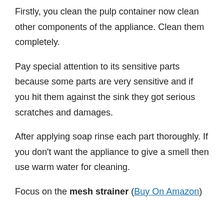Firstly, you clean the pulp container now clean other components of the appliance. Clean them completely.
Pay special attention to its sensitive parts because some parts are very sensitive and if you hit them against the sink they got serious scratches and damages.
After applying soap rinse each part thoroughly. If you don’t want the appliance to give a smell then use warm water for cleaning.
Focus on the mesh strainer (Buy On Amazon)